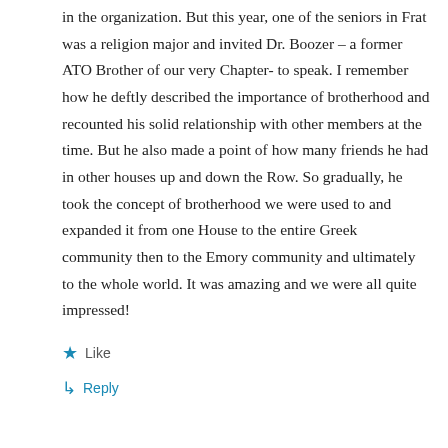in the organization. But this year, one of the seniors in Frat was a religion major and invited Dr. Boozer – a former ATO Brother of our very Chapter- to speak. I remember how he deftly described the importance of brotherhood and recounted his solid relationship with other members at the time. But he also made a point of how many friends he had in other houses up and down the Row. So gradually, he took the concept of brotherhood we were used to and expanded it from one House to the entire Greek community then to the Emory community and ultimately to the whole world. It was amazing and we were all quite impressed!
★ Like
↳ Reply